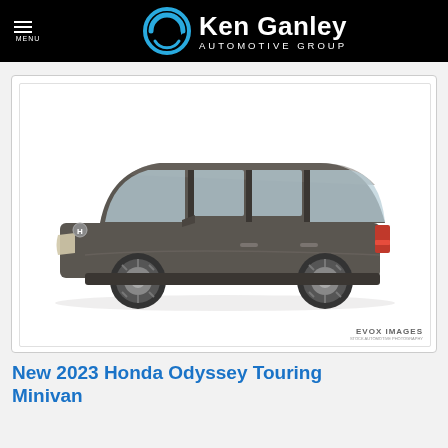Ken Ganley AUTOMOTIVE GROUP
[Figure (photo): Side profile photograph of a 2023 Honda Odyssey Touring minivan in dark gray/gunmetal color on white background, with EVOX IMAGES watermark in bottom right corner]
New 2023 Honda Odyssey Touring Minivan